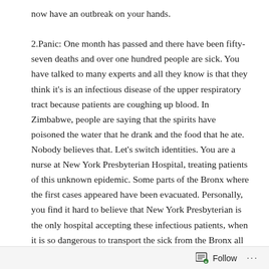now have an outbreak on your hands.

2.Panic: One month has passed and there have been fifty-seven deaths and over one hundred people are sick. You have talked to many experts and all they know is that they think it's is an infectious disease of the upper respiratory tract because patients are coughing up blood. In Zimbabwe, people are saying that the spirits have poisoned the water that he drank and the food that he ate. Nobody believes that. Let's switch identities. You are a nurse at New York Presbyterian Hospital, treating patients of this unknown epidemic. Some parts of the Bronx where the first cases appeared have been evacuated. Personally, you find it hard to believe that New York Presbyterian is the only hospital accepting these infectious patients, when it is so dangerous to transport the sick from the Bronx all the way down to lower Manhattan. the cycle of the disease is slower than one would imagine, considering how infectious it is. First there are headaches and coughing, then vomiting and yellowing of the eyes, then there is
Follow ...